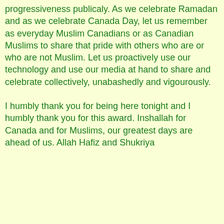progressiveness publicaly. As we celebrate Ramadan and as we celebrate Canada Day, let us remember as everyday Muslim Canadians or as Canadian Muslims to share that pride with others who are or who are not Muslim. Let us proactively use our technology and use our media at hand to share and celebrate collectively, unabashedly and vigourously.
I humbly thank you for being here tonight and I humbly thank you for this award. Inshallah for Canada and for Muslims, our greatest days are ahead of us. Allah Hafiz and Shukriya